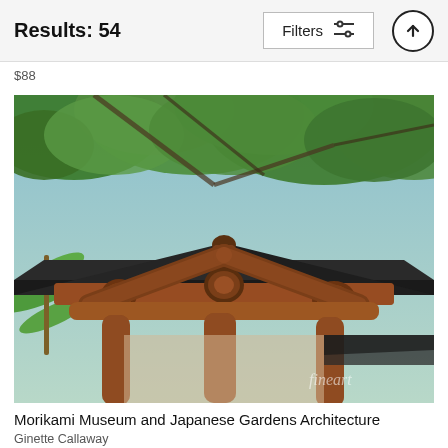Results: 54
$88
[Figure (photo): Close-up photograph of Japanese architectural roof structure with wooden beams, tiled roof, and green tree canopy in the background. Watermark reads 'fineart'. From Morikami Museum and Japanese Gardens.]
Morikami Museum and Japanese Gardens Architecture
Ginette Callaway